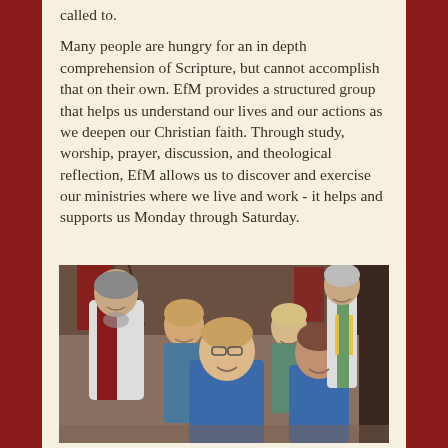called to.
Many people are hungry for an in depth comprehension of Scripture, but cannot accomplish that on their own. EfM provides a structured group that helps us understand our lives and our actions as we deepen our Christian faith. Through study, worship, prayer, discussion, and theological reflection, EfM allows us to discover and exercise our ministries where we live and work - it helps and supports us Monday through Saturday.
[Figure (photo): Group photo of approximately 7-8 people in a church setting. Several people in the front are wearing blue t-shirts, one person on the left is wearing a red and white vestment, and a person on the right is wearing a colorful vestment. The group is smiling and posing together.]